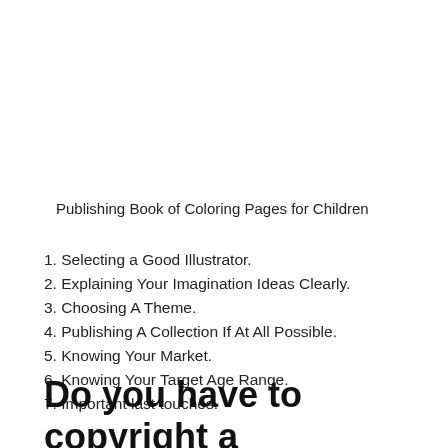Publishing Book of Coloring Pages for Children
1. Selecting a Good Illustrator.
2. Explaining Your Imagination Ideas Clearly.
3. Choosing A Theme.
4. Publishing A Collection If At All Possible.
5. Knowing Your Market.
6. Knowing Your Target Age Range.
7. Important last touches.
Do you have to copyright a